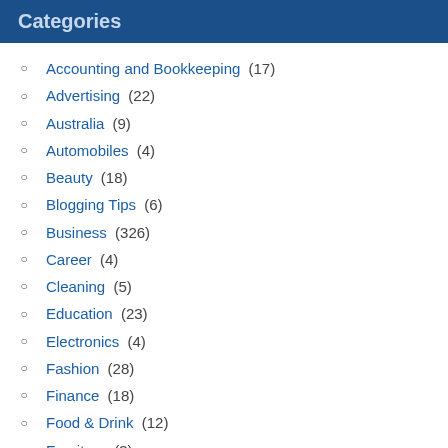Categories
Accounting and Bookkeeping (17)
Advertising (22)
Australia (9)
Automobiles (4)
Beauty (18)
Blogging Tips (6)
Business (326)
Career (4)
Cleaning (5)
Education (23)
Electronics (4)
Fashion (28)
Finance (18)
Food & Drink (12)
Furniture (3)
Gift Ideas (23)
Health & Fitness (53)
Home Improvement (82)